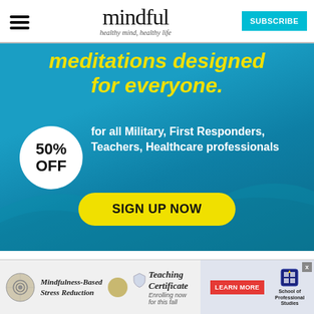mindful — healthy mind, healthy life | SUBSCRIBE
[Figure (infographic): Blue banner advertisement for meditation app offering 50% OFF for all Military, First Responders, Teachers, Healthcare professionals with SIGN UP NOW button, headline text 'meditations designed for everyone.' in yellow italic font]
[Figure (infographic): Bottom advertisement strip for Mindfulness-Based Stress Reduction Teaching Certificate — Enrolling now for this fall, with School of Professional Studies, LEARN MORE button]